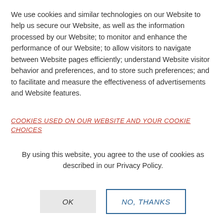We use cookies and similar technologies on our Website to help us secure our Website, as well as the information processed by our Website; to monitor and enhance the performance of our Website; to allow visitors to navigate between Website pages efficiently; understand Website visitor behavior and preferences, and to store such preferences; and to facilitate and measure the effectiveness of advertisements and Website features.
COOKIES USED ON OUR WEBSITE AND YOUR COOKIE CHOICES
By using this website, you agree to the use of cookies as described in our Privacy Policy.